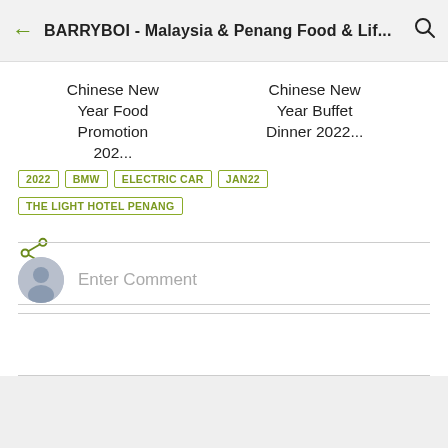BARRYBOI - Malaysia & Penang Food & Lif...
Chinese New Year Food Promotion 202...
Chinese New Year Buffet Dinner 2022...
2022 BMW ELECTRIC CAR JAN22
THE LIGHT HOTEL PENANG
[Figure (other): Share icon (three connected nodes)]
Enter Comment